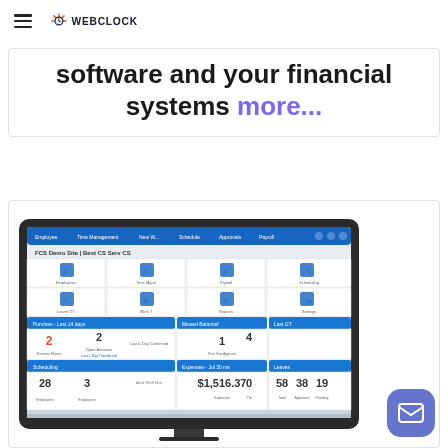WebClock
software and your financial systems more...
[Figure (screenshot): WebClock software dashboard displayed on a laptop/monitor screen, showing employee management interface with icons for Employees, Time Management, Payroll, Scheduling, and various status widgets with numbers and action buttons.]